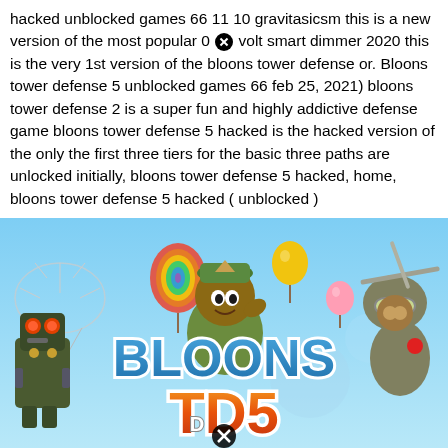hacked unblocked games 66 11 10 gravitasicsm this is a new version of the most popular 0 [x] volt smart dimmer 2020 this is the very 1st version of the bloons tower defense or. Bloons tower defense 5 unblocked games 66 feb 25, 2021) bloons tower defense 2 is a super fun and highly addictive defense game bloons tower defense 5 hacked is the hacked version of the only the first three tiers for the basic three paths are unlocked initially, bloons tower defense 5 hacked, home, bloons tower defense 5 hacked ( unblocked )
[Figure (illustration): Bloons Tower Defense 5 game promotional image showing the BLOONS TD5 logo with cartoon game characters including a robot, a soldier monkey, a flying monkey pilot, balloons of various colors on a blue background.]